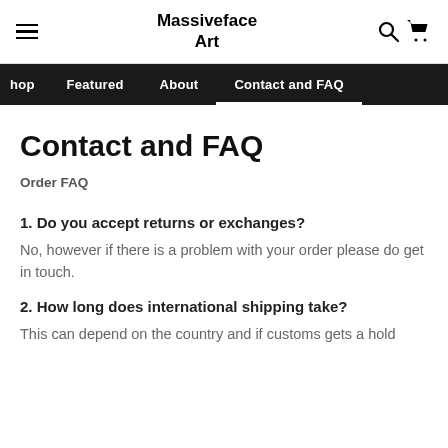Massiveface Art
Shop  Featured  About  Contact and FAQ
Contact and FAQ
Order FAQ
1. Do you accept returns or exchanges?
No, however if there is a problem with your order please do get in touch.
2. How long does international shipping take?
This can depend on the country and if customs gets a hold